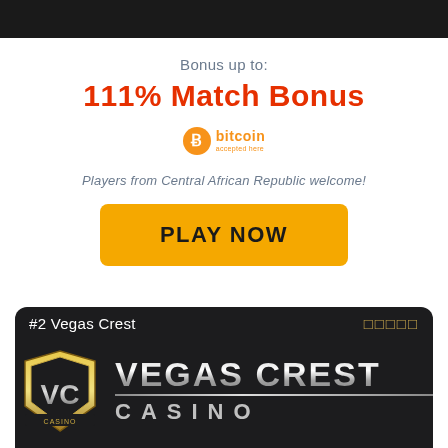[Figure (other): Dark top navigation bar]
Bonus up to:
111% Match Bonus
[Figure (logo): Bitcoin accepted here logo with orange circle and B symbol]
Players from Central African Republic welcome!
PLAY NOW
[Figure (logo): #2 Vegas Crest Casino logo card with VC emblem and Vegas Crest Casino text in metallic style]